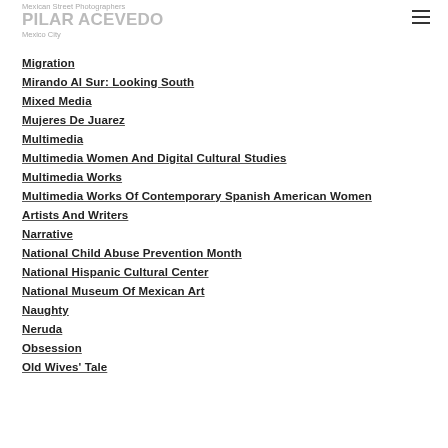Mexican Street Photographers
PILAR ACEVEDO
Mexico City
Migration
Mirando Al Sur: Looking South
Mixed Media
Mujeres De Juarez
Multimedia
Multimedia Women And Digital Cultural Studies
Multimedia Works
Multimedia Works Of Contemporary Spanish American Women Artists And Writers
Narrative
National Child Abuse Prevention Month
National Hispanic Cultural Center
National Museum Of Mexican Art
Naughty
Neruda
Obsession
Old Wives' Tale